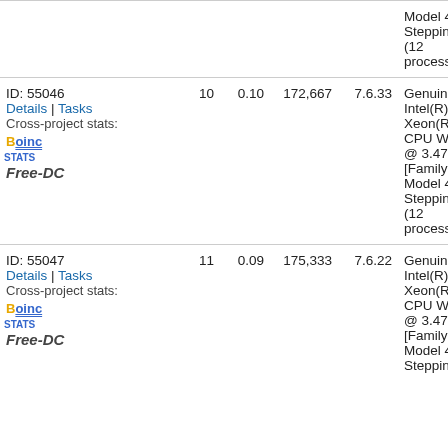| ID/Details | Num1 | Num2 | Num3 | Num4 | CPU | Extra |
| --- | --- | --- | --- | --- | --- | --- |
| (continued) Model 44 Stepping 2] (12 processors) |  |  |  |  | Model 44 Stepping 2] (12 processors) | 37 Op 1. |
| ID: 55046
Details | Tasks
Cross-project stats:
BOINC Stats
Free-DC | 10 | 0.10 | 172,667 | 7.6.33 | GenuineIntel Intel(R) Xeon(R) CPU W3690 @ 3.47GHz [Family 6 Model 44 Stepping 2] (12 processors) | NY Qu 40 (2 dr 35 |
| ID: 55047
Details | Tasks
Cross-project stats:
BOINC Stats
Free-DC | 11 | 0.09 | 175,333 | 7.6.22 | GenuineIntel Intel(R) Xeon(R) CPU W3690 @ 3.47GHz [Family 6 Model 44 Stepping 2] | NY Qu 40 (2 dr 35 |